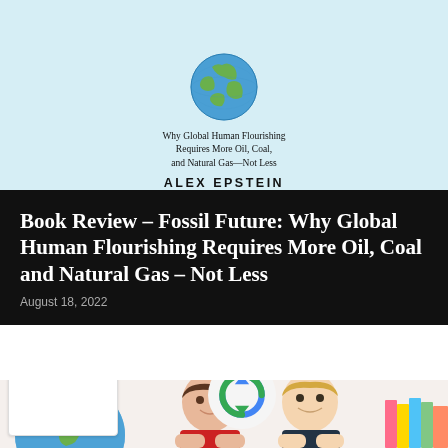[Figure (illustration): Book cover top portion: light blue background with globe illustration, subtitle text 'Why Global Human Flourishing Requires More Oil, Coal, and Natural Gas—Not Less' and author name 'ALEX EPSTEIN']
Book Review – Fossil Future: Why Global Human Flourishing Requires More Oil, Coal and Natural Gas – Not Less
August 18, 2022
[Figure (photo): Two young boys smiling with chins resting on hands, a globe on the left and colorful books on the right, white/pink background. A reCAPTCHA badge overlay in the bottom left corner with 'Privacy · Terms' text.]